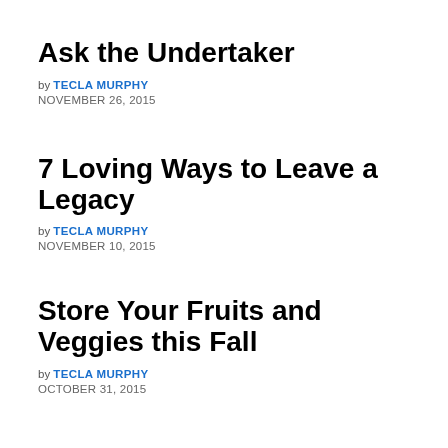Ask the Undertaker
by TECLA MURPHY
NOVEMBER 26, 2015
7 Loving Ways to Leave a Legacy
by TECLA MURPHY
NOVEMBER 10, 2015
Store Your Fruits and Veggies this Fall
by TECLA MURPHY
OCTOBER 31, 2015